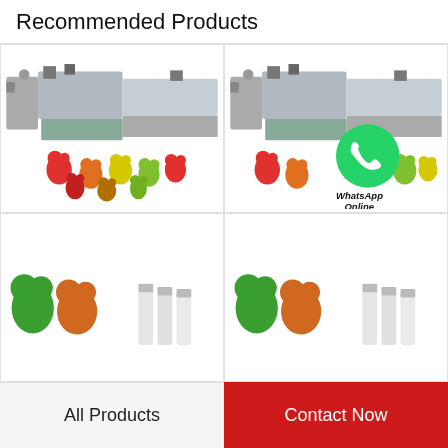Recommended Products
[Figure (photo): Candy gummy production machine with colorful gummy bears in front]
[Figure (photo): Candy gummy production machine with colorful gummy bears and WhatsApp Online overlay]
Novelty Flexible Mould Food Safety Grade Silico…
150Kg/h Automatic Starch Moulding Gummy Candy…
[Figure (photo): Green and orange gummy bears with bottled drinks]
[Figure (photo): Green and orange gummy bears with bottled drinks]
All Products
Contact Now